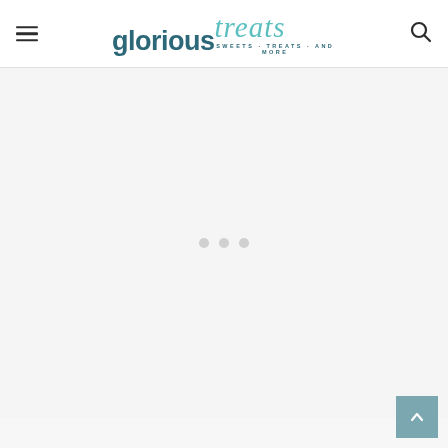glorious treats — SWEETS · TREATS · AND MORE
[Figure (other): Loading spinner with three grey dots centered in a large light grey content area]
[Figure (other): Scroll-to-top button (upward arrow) in teal/grey square at bottom right corner]